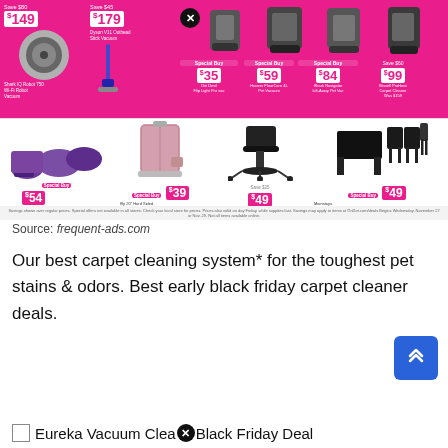[Figure (photo): Walmart Black Friday advertisement flyer showing vacuum cleaners and luggage/furniture deals. Top pink section shows Shark IQ Robot Vacuum for $149 (Save $80), Dyson V11 for $179 (Save $45), and several other vacuums with Special Buy prices of $35, $59, $84, $99. Bottom white section shows luggage sets, hard-shell carry-on, office chair, and card table set.]
Source: frequent-ads.com
Our best carpet cleaning system* for the toughest pet stains & odors. Best early black friday carpet cleaner deals.
Eureka Vacuum Cleaner Black Friday Deal